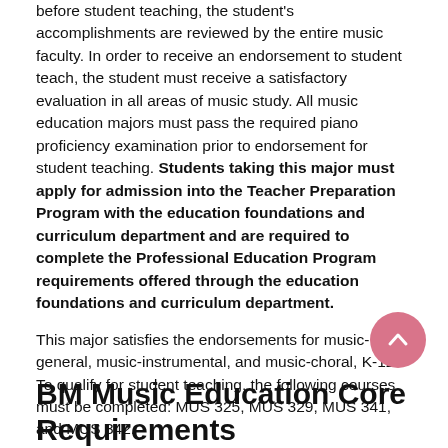before student teaching, the student's accomplishments are reviewed by the entire music faculty. In order to receive an endorsement to student teach, the student must receive a satisfactory evaluation in all areas of music study. All music education majors must pass the required piano proficiency examination prior to endorsement for student teaching. Students taking this major must apply for admission into the Teacher Preparation Program with the education foundations and curriculum department and are required to complete the Professional Education Program requirements offered through the education foundations and curriculum department.
This major satisfies the endorsements for music-general, music-instrumental, and music-choral, K-12. To qualify for student teaching, the following courses must be completed: MUS 325, MUS 329, MUS 341, and MUS 342.
BM Music Education Core Requirements